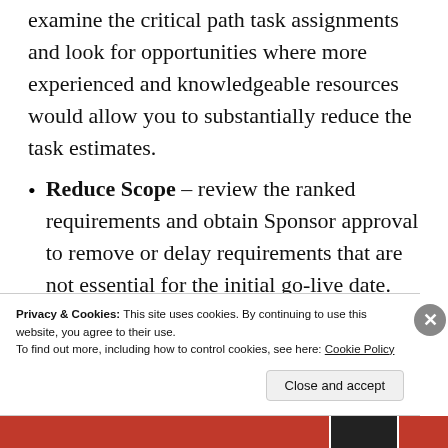examine the critical path task assignments and look for opportunities where more experienced and knowledgeable resources would allow you to substantially reduce the task estimates.
Reduce Scope – review the ranked requirements and obtain Sponsor approval to remove or delay requirements that are not essential for the initial go-live date.
Sacrifice Quality – you can ask the Sponsor f…
Privacy & Cookies: This site uses cookies. By continuing to use this website, you agree to their use.
To find out more, including how to control cookies, see here: Cookie Policy